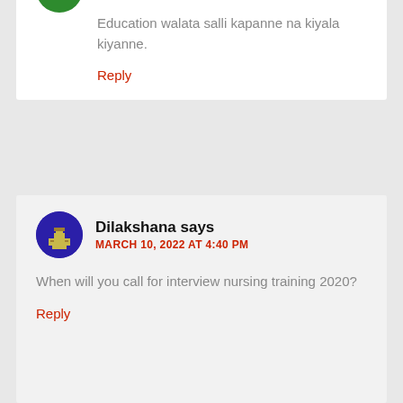Education walata salli kapanne na kiyala kiyanne.
Reply
Dilakshana says
MARCH 10, 2022 AT 4:40 PM
When will you call for interview nursing training 2020?
Reply